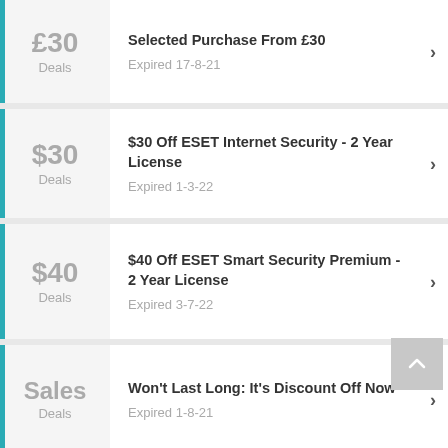£30 Deals — Selected Purchase From £30 — Expired 17-8-21
$30 Deals — $30 Off ESET Internet Security - 2 Year License — Expired 1-3-22
$40 Deals — $40 Off ESET Smart Security Premium - 2 Year License — Expired 3-7-22
Sales Deals — Won't Last Long: It's Discount Off Now — Expired 1-8-21